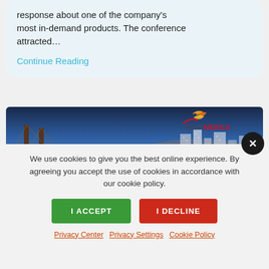response about one of the company's most in-demand products. The conference attracted…
Continue Reading
[Figure (photo): WispaAmerica banner showing a city bridge skyline at dusk with the WispaAmerica logo in the top right corner]
We use cookies to give you the best online experience. By agreeing you accept the use of cookies in accordance with our cookie policy.
I ACCEPT
I DECLINE
Privacy Center   Privacy Settings   Cookie Policy